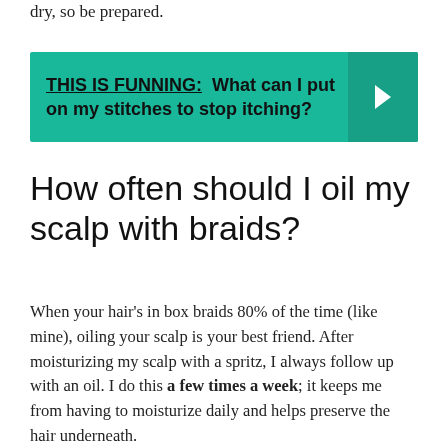dry, so be prepared.
[Figure (infographic): Teal banner with bold underlined text THIS IS FUNNING: What can I put on my stitches to stop itching? with a right-arrow chevron on the right side.]
How often should I oil my scalp with braids?
When your hair's in box braids 80% of the time (like mine), oiling your scalp is your best friend. After moisturizing my scalp with a spritz, I always follow up with an oil. I do this a few times a week; it keeps me from having to moisturize daily and helps preserve the hair underneath.